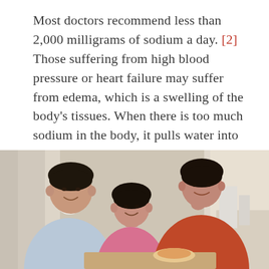Most doctors recommend less than 2,000 milligrams of sodium a day. [2] Those suffering from high blood pressure or heart failure may suffer from edema, which is a swelling of the body's tissues. When there is too much sodium in the body, it pulls water into your blood vessels, increasing edema's severity. This buildup of extra fluid can damage the blood vessels and lead to bloating or weight gain. [3]
[Figure (photo): A family of three — a father, a young daughter, and a mother — sitting together at a table, smiling and interacting. The father wears a light blue shirt, the daughter wears a pink shirt, and the mother wears a red/orange sleeveless top. The setting appears to be a kitchen or dining area.]